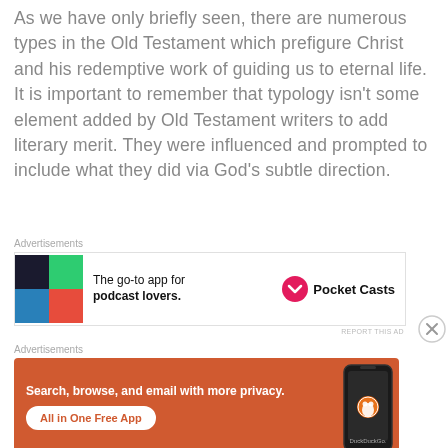As we have only briefly seen, there are numerous types in the Old Testament which prefigure Christ and his redemptive work of guiding us to eternal life. It is important to remember that typology isn't some element added by Old Testament writers to add literary merit. They were influenced and prompted to include what they did via God's subtle direction.
[Figure (other): Advertisement banner for Pocket Casts podcast app with colorful geometric logo and text 'The go-to app for podcast lovers.']
[Figure (other): Advertisement banner for DuckDuckGo showing orange background with text 'Search, browse, and email with more privacy. All in One Free App' and a phone mockup with DuckDuckGo logo.]